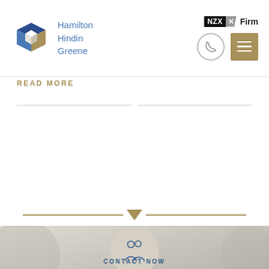[Figure (logo): Hamilton Hindin Greene logo with blue and gold geometric cube icon and company name in blue text, alongside NZX Firm badge, phone icon in circle, and menu icon in gold square]
READ MORE
[Figure (illustration): Decorative divider with gold/tan horizontal lines and a downward-pointing bookmark/arrow shape in the center]
[Figure (illustration): Find An Adviser section with blurred background, circular beige icon showing two people figures, text 'Find An Adviser' in blue serif font, and 'CONTACT NOW' in blue uppercase letters below]
Find An Adviser
CONTACT NOW